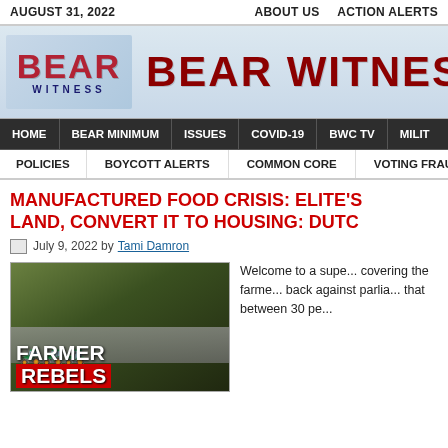AUGUST 31, 2022   ABOUT US   ACTION ALERTS
[Figure (logo): Bear Witness Central logo with American flag styled BEAR text and BEAR WITNESS banner title]
HOME   BEAR MINIMUM   ISSUES   COVID-19   BWC TV   MILIT...
POLICIES   BOYCOTT ALERTS   COMMON CORE   VOTING FRAUD
MANUFACTURED FOOD CRISIS: ELITE'S LAND, CONVERT IT TO HOUSING: DUTC...
July 9, 2022 by Tami Damron
[Figure (photo): Farmer Rebels image showing tractors on a highway with text overlay FARMER REBELS]
Welcome to a supe... covering the farme... back against parlia... that between 30 pe...